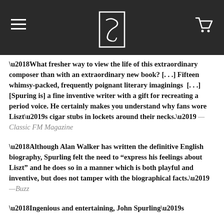Navigation header with hamburger menu, logo, and cart icon
‘What fresher way to view the life of this extraordinary composer than with an extraordinary new book? [. . .] Fifteen whimsy-packed, frequently poignant literary imaginings  [. . .] [Spuring is] a fine inventive writer with a gift for recreating a period voice. He certainly makes you understand why fans wore Liszt’s cigar stubs in lockets around their necks.’ —Classic FM Magazine
‘Although Alan Walker has written the definitive English biography, Spurling felt the need to "express his feelings about Liszt" and he does so in a manner which is both playful and inventive, but does not tamper with the biographical facts.’ —Buzz
‘Ingenious and entertaining, John Spurling’s